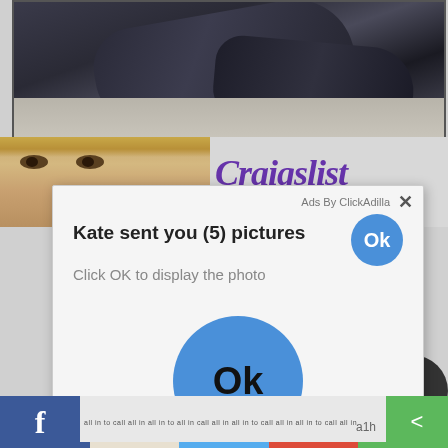[Figure (photo): Top portion of webpage showing a person lying on a mattress wearing dark/black clothing, legs visible]
[Figure (photo): Partial face of a blonde woman peeking, with Craigslist logo text visible to the right in purple italic serif font]
[Figure (screenshot): Ad popup overlay on webpage. Header: 'Ads By ClickAdilla' with X close button. Main text: 'Kate sent you (5) pictures' with a blue Ok circle button. Subtext: 'Click OK to display the photo'. Large blue Ok button centered in popup body.]
Ads By ClickAdilla
Kate sent you (5) pictures
Click OK to display the photo
Ok
Ok
f   a1h